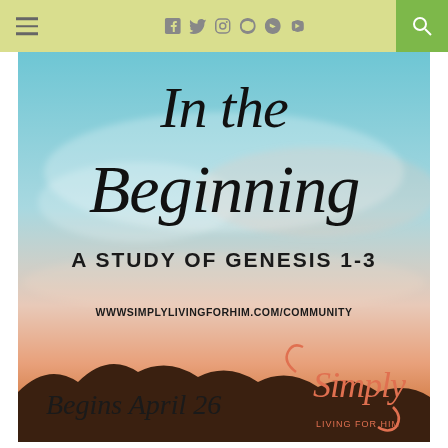Navigation bar with hamburger menu, social icons (facebook, twitter, instagram, pinterest, youtube, soundcloud), and search button
[Figure (illustration): Promotional graphic for a Bible study series titled 'In the Beginning: A Study of Genesis 1-3' overlaid on a sunset/sunrise sky photo with clouds. Text includes 'WWWSIMPLYLIVINGFORHIM.COM/COMMUNITY', 'Begins April 26', and the Simply Living for Him logo in coral/orange.]